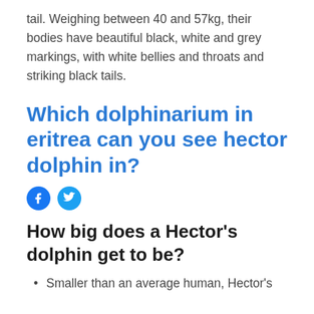tail. Weighing between 40 and 57kg, their bodies have beautiful black, white and grey markings, with white bellies and throats and striking black tails.
Which dolphinarium in eritrea can you see hector dolphin in?
[Figure (other): Facebook and Twitter social share icons]
How big does a Hector's dolphin get to be?
Smaller than an average human, Hector's